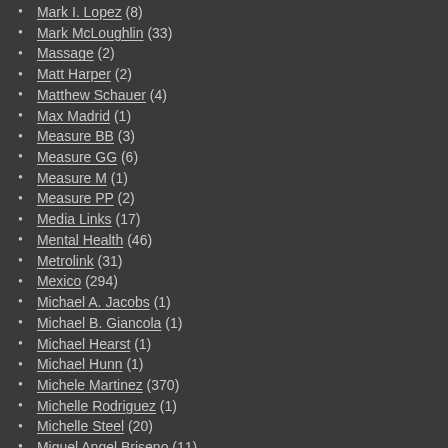Mark I. Lopez (8)
Mark McLoughlin (33)
Massage (2)
Matt Harper (2)
Matthew Schauer (4)
Max Madrid (1)
Measure BB (3)
Measure GG (6)
Measure M (1)
Measure PP (2)
Media Links (17)
Mental Health (46)
Metrolink (31)
Mexico (294)
Michael A. Jacobs (1)
Michael B. Giancola (1)
Michael Hearst (1)
Michael Hunn (1)
Michele Martinez (370)
Michelle Rodriguez (1)
Michelle Steel (20)
Miguel Angel Briseno (11)